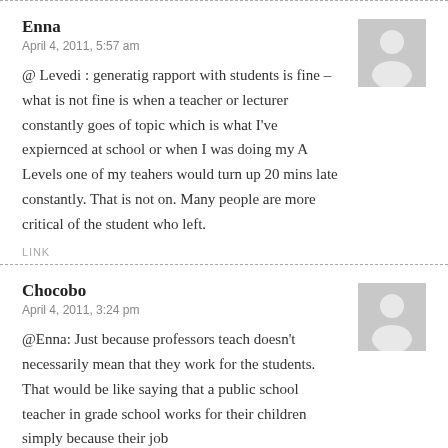Enna
April 4, 2011, 5:57 am
@ Levedi : generatig rapport with students is fine – what is not fine is when a teacher or lecturer constantly goes of topic which is what I've expiernced at school or when I was doing my A Levels one of my teahers would turn up 20 mins late constantly. That is not on. Many people are more critical of the student who left.
LINK
Chocobo
April 4, 2011, 3:24 pm
@Enna: Just because professors teach doesn't necessarily mean that they work for the students. That would be like saying that a public school teacher in grade school works for their children simply because their job…